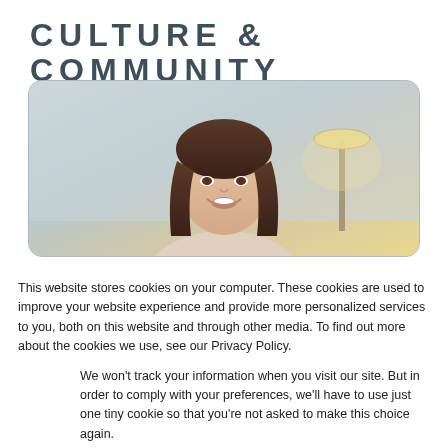CULTURE & COMMUNITY
[Figure (photo): A young woman with long dark hair smiling, photographed indoors with a floor lamp visible in the background]
This website stores cookies on your computer. These cookies are used to improve your website experience and provide more personalized services to you, both on this website and through other media. To find out more about the cookies we use, see our Privacy Policy.
We won't track your information when you visit our site. But in order to comply with your preferences, we'll have to use just one tiny cookie so that you're not asked to make this choice again.
Accept
Decline